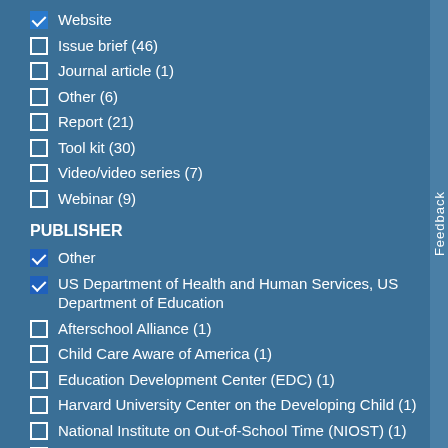Website (checked)
Issue brief (46)
Journal article (1)
Other (6)
Report (21)
Tool kit (30)
Video/video series (7)
Webinar (9)
PUBLISHER
Other (checked)
US Department of Health and Human Services, US Department of Education (checked)
Afterschool Alliance (1)
Child Care Aware of America (1)
Education Development Center (EDC) (1)
Harvard University Center on the Developing Child (1)
National Institute on Out-of-School Time (NIOST) (1)
National Summer Learning Association (NSLA) (1)